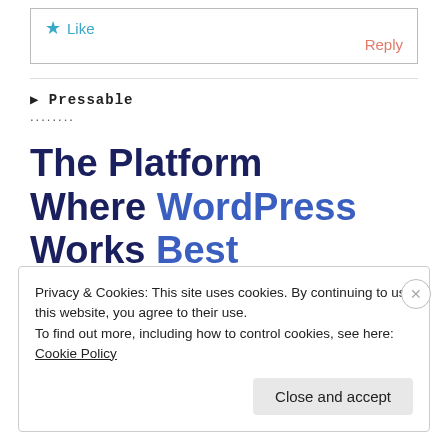★ Like
Reply
Pressable ........
The Platform Where WordPress Works Best
Privacy & Cookies: This site uses cookies. By continuing to use this website, you agree to their use. To find out more, including how to control cookies, see here: Cookie Policy
Close and accept